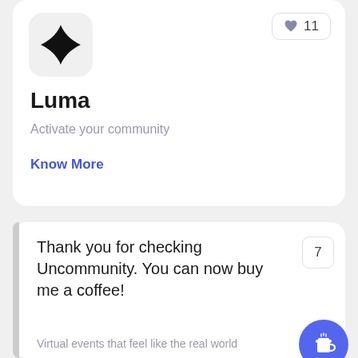[Figure (screenshot): App icon with black four-pointed star on light gray rounded square background]
Luma
Activate your community
Know More
11
Thank you for checking Uncommunity. You can now buy me a coffee!
7
Virtual events that feel like the real world